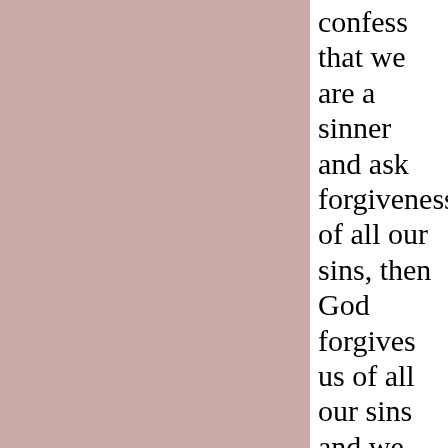confess that we are a sinner and ask forgiveness of all our sins, then God forgives us of all our sins and we are made PERFECT even as our